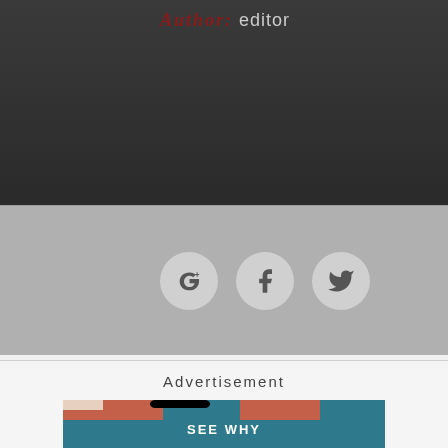Author: editor
[Figure (other): Social sharing icons: Google+, Facebook, Twitter circles on grey background]
Advertisement
[Figure (photo): Article card image with teal background and text: SEE WHY EVERYONE LOVES LAS]